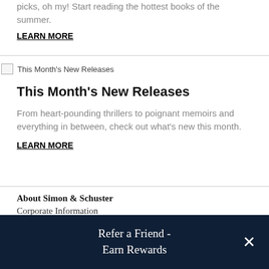picks, oh my! Start reading the hottest books of the summer.
LEARN MORE
[Figure (other): Broken image placeholder for This Month's New Releases banner image]
This Month's New Releases
From heart-pounding thrillers to poignant memoirs and everything in between, check out what's new this month.
LEARN MORE
About Simon & Schuster
Corporate Information
Refer a Friend - Earn Rewards